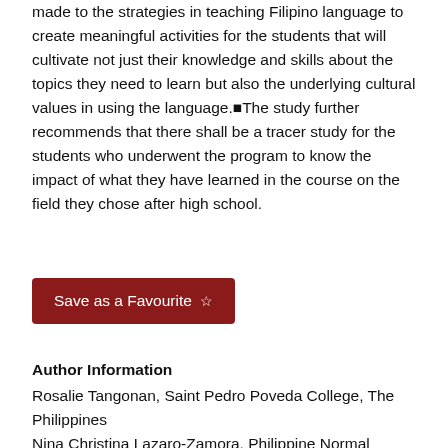made to the strategies in teaching Filipino language to create meaningful activities for the students that will cultivate not just their knowledge and skills about the topics they need to learn but also the underlying cultural values in using the language. The study further recommends that there shall be a tracer study for the students who underwent the program to know the impact of what they have learned in the course on the field they chose after high school.
[Figure (other): Dark red button labeled 'Save as a Favourite' with a star icon]
Author Information
Rosalie Tangonan, Saint Pedro Poveda College, The Philippines
Nina Christina Lazaro-Zamora, Philippine Normal University, The Philippines
Voltaire Villanueva, Philippine Normal University, The